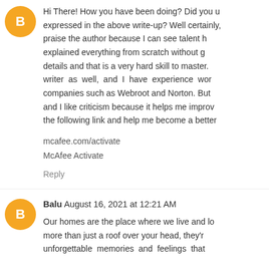Hi There! How you have been doing? Did you understand all the concepts expressed in the above write-up? Well certainly, I want to praise the author because I can see talent here, the author has explained everything from scratch without going into unnecessary details and that is a very hard skill to master. I am also a writer as well, and I have experience working with top companies such as Webroot and Norton. But I am still learning and I like criticism because it helps me improve. Just click the following link and help me become a better writer.
mcafee.com/activate
McAfee Activate
Reply
Balu August 16, 2021 at 12:21 AM
Our homes are the place where we live and love, it is more than just a roof over your head, they're the unforgettable memories and feelings that...